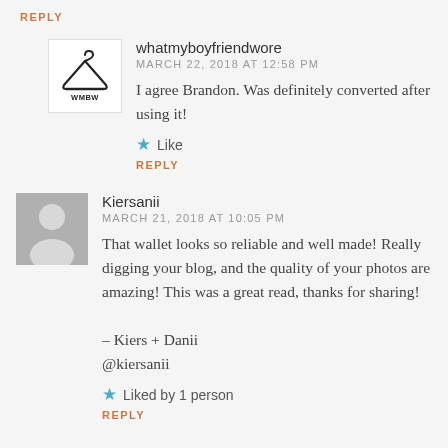REPLY
whatmyboyfriendwore
MARCH 22, 2018 AT 12:58 PM
I agree Brandon. Was definitely converted after using it!
Like
REPLY
Kiersanii
MARCH 21, 2018 AT 10:05 PM
That wallet looks so reliable and well made! Really digging your blog, and the quality of your photos are amazing! This was a great read, thanks for sharing!
– Kiers + Danii
@kiersanii
Liked by 1 person
REPLY